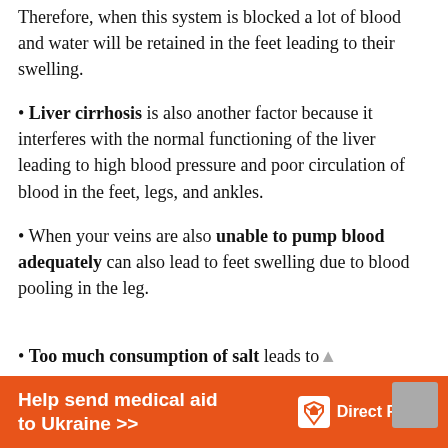Therefore, when this system is blocked a lot of blood and water will be retained in the feet leading to their swelling.
Liver cirrhosis is also another factor because it interferes with the normal functioning of the liver leading to high blood pressure and poor circulation of blood in the feet, legs, and ankles.
When your veins are also unable to pump blood adequately can also lead to feet swelling due to blood pooling in the leg.
Too much consumption of salt leads to...
[Figure (other): Orange banner advertisement: 'Help send medical aid to Ukraine >>' with Direct Relief logo on the right.]